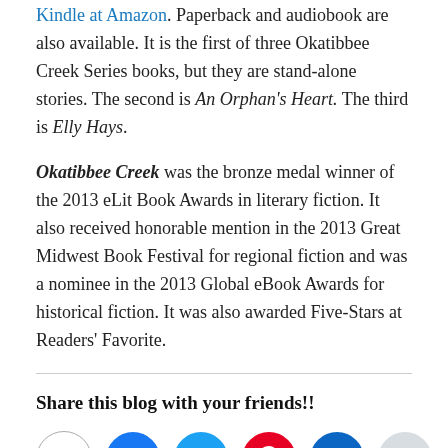Kindle at Amazon. Paperback and audiobook are also available. It is the first of three Okatibbee Creek Series books, but they are stand-alone stories. The second is An Orphan's Heart. The third is Elly Hays.
Okatibbee Creek was the bronze medal winner of the 2013 eLit Book Awards in literary fiction. It also received honorable mention in the 2013 Great Midwest Book Festival for regional fiction and was a nominee in the 2013 Global eBook Awards for historical fiction. It was also awarded Five-Stars at Readers' Favorite.
Share this blog with your friends!!